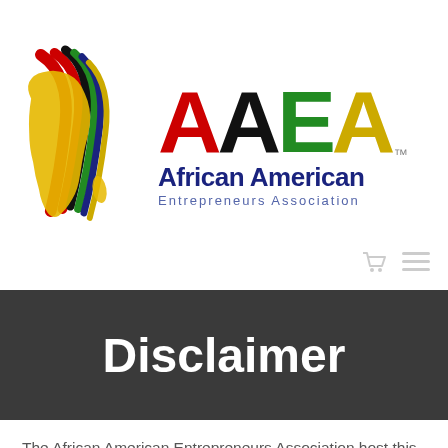[Figure (logo): AAEA African American Entrepreneurs Association logo with colorful Africa map silhouette and multicolor AAEA lettering]
Disclaimer
The African American Entrepreneurs Association host this website to allow each of its Business Members